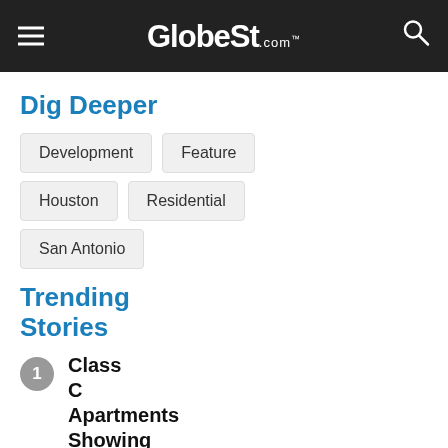GlobeSt.com
Dig Deeper
Development
Feature
Houston
Residential
San Antonio
Trending Stories
1 Class C Apartments Showing Cracks
2 Inflation...